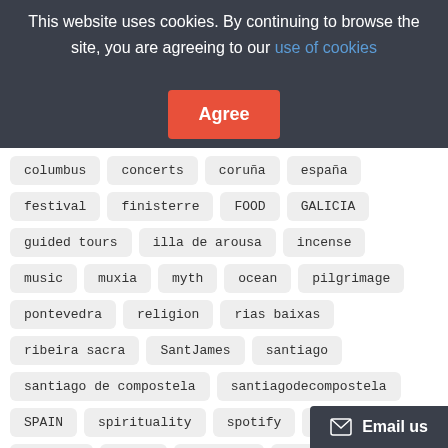This website uses cookies. By continuing to browse the site, you are agreeing to our use of cookies
columbus
concerts
coruña
españa
festival
finisterre
FOOD
GALICIA
guided tours
illa de arousa
incense
music
muxia
myth
ocean
pilgrimage
pontevedra
religion
rias baixas
ribeira sacra
SantJames
santiago
santiago de compostela
santiagodecompostela
SPAIN
spirituality
spotify
summer
tourism
trail
trekking
visita guiada
wine